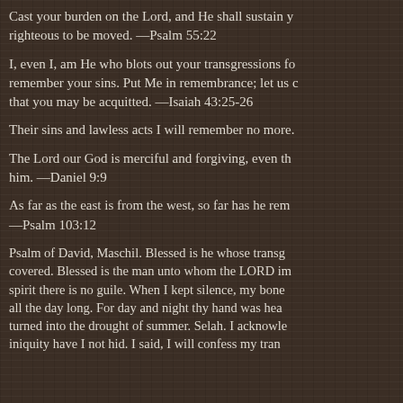Cast your burden on the Lord, and He shall sustain you; He will never permit the righteous to be moved. —Psalm 55:22
I, even I, am He who blots out your transgressions for My own sake; and I will not remember your sins. Put Me in remembrance; let us contend together; state your case, that you may be acquitted. —Isaiah 43:25-26
Their sins and lawless acts I will remember no more.
The Lord our God is merciful and forgiving, even though we have rebelled against him. —Daniel 9:9
As far as the east is from the west, so far has he removed our transgressions from us. —Psalm 103:12
Psalm of David, Maschil. Blessed is he whose transgression is forgiven, whose sin is covered. Blessed is the man unto whom the LORD imputeth not iniquity, and in whose spirit there is no guile. When I kept silence, my bones waxed old through my roaring all the day long. For day and night thy hand was heavy upon me: my moisture is turned into the drought of summer. Selah. I acknowledged my sin unto thee, and mine iniquity have I not hid. I said, I will confess my transgressions